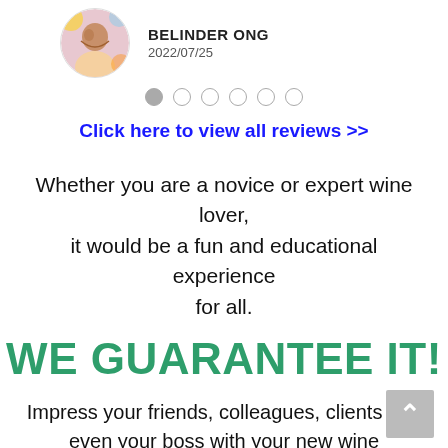[Figure (photo): Circular profile photo of a woman (Belinder Ong) with colorful background]
BELINDER ONG
2022/07/25
• ○ ○ ○ ○ ○ (pagination dots)
Click here to view all reviews >>
Whether you are a novice or expert wine lover, it would be a fun and educational experience for all.
WE GUARANTEE IT!
Impress your friends, colleagues, clients and even your boss with your new wine knowledge and join his inner circle.